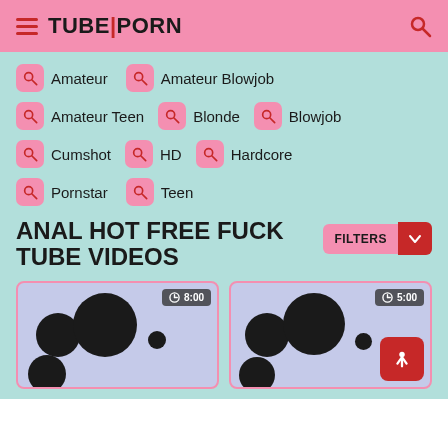TUBE|PORN
Amateur
Amateur Blowjob
Amateur Teen
Blonde
Blowjob
Cumshot
HD
Hardcore
Pornstar
Teen
ANAL HOT FREE FUCK TUBE VIDEOS
[Figure (screenshot): Video thumbnail 1 with duration badge 8:00]
[Figure (screenshot): Video thumbnail 2 with duration badge 5:00 and upload button]